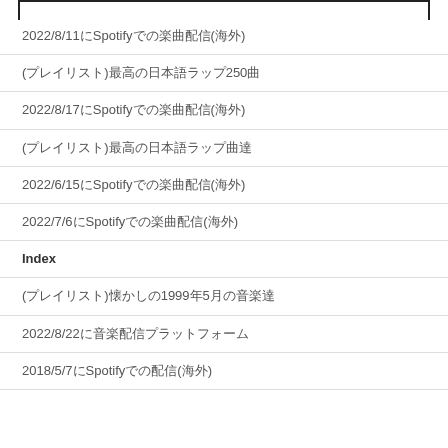2022/8/11にSpotifyでの楽曲配信(海外)
(プレイリスト)最高の日本語ラップ250曲
2022/8/17にSpotifyでの楽曲配信(海外)
(プレイリスト)最高の日本語ラップ曲達
2022/6/15にSpotifyでの楽曲配信(海外)
2022/7/6にSpotifyでの楽曲配信(海外)
Index
(プレイリスト)懐かしの1999年5月の音楽達
2022/8/22に音楽配信プラットフォーム
2018/5/7にSpotifyでの配信(海外)